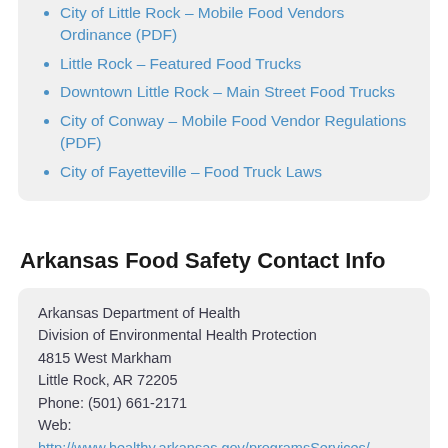City of Little Rock – Mobile Food Vendors Ordinance (PDF)
Little Rock – Featured Food Trucks
Downtown Little Rock – Main Street Food Trucks
City of Conway – Mobile Food Vendor Regulations (PDF)
City of Fayetteville – Food Truck Laws
Arkansas Food Safety Contact Info
Arkansas Department of Health
Division of Environmental Health Protection
4815 West Markham
Little Rock, AR 72205
Phone: (501) 661-2171
Web: http://www.healthy.arkansas.gov/programsServices/…

Major cities served: Little Rock, Fort Smith, Fayetteville, Springdale, Jonesboro, North Little Rock, Conway